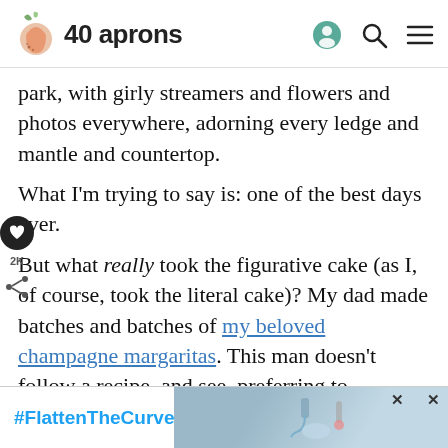40 aprons
park, with girly streamers and flowers and photos everywhere, adorning every ledge and mantle and countertop.
What I'm trying to say is: one of the best days ever.
But what really took the figurative cake (as I, of course, took the literal cake)? My dad made batches and batches of my beloved champagne margaritas. This man doesn't follow a recipe, and see, preferring to hyperfocus on a new technique he's heard of, touching on it then moving on to something else. He can't repeat a
[Figure (screenshot): Ad banner with #FlattenTheCurve hashtag and hand washing photo]
such one